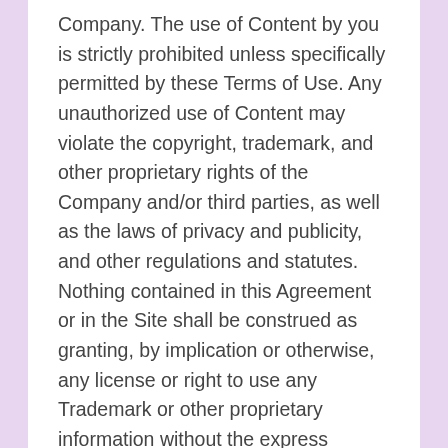Company. The use of Content by you is strictly prohibited unless specifically permitted by these Terms of Use. Any unauthorized use of Content may violate the copyright, trademark, and other proprietary rights of the Company and/or third parties, as well as the laws of privacy and publicity, and other regulations and statutes. Nothing contained in this Agreement or in the Site shall be construed as granting, by implication or otherwise, any license or right to use any Trademark or other proprietary information without the express written consent of the Company or third party owner. The Company respects the copyright, trademark and all other intellectual property rights of others. The Company has the right, but